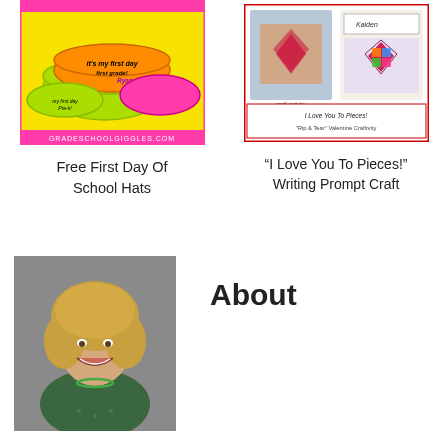[Figure (illustration): Colorful silicone wristbands/school hats with text 'it's my first day first grade! Ryan' on yellow background with site URL gradeschoolgiggles.com]
Free First Day Of School Hats
[Figure (illustration): Valentine craftivity showing heart collage and name card 'Kaiden', with caption 'I Love You To Pieces! Rip & Tear Valentine Craftivity']
“I Love You To Pieces!” Writing Prompt Craft
[Figure (photo): Professional headshot of a smiling blonde woman with curly hair wearing a green patterned top and green necklace]
About